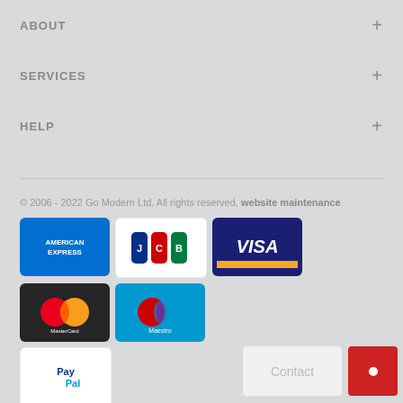ABOUT +
SERVICES +
HELP +
© 2006 - 2022 Go Modern Ltd. All rights reserved, website maintenance
[Figure (logo): Payment method logos: American Express, JCB, Visa, MasterCard, Maestro, PayPal]
Contact